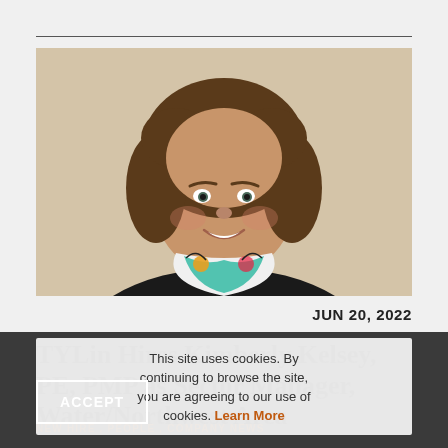[Figure (photo): Headshot of Kimberly Kelsey, a woman with curly brown hair, smiling, wearing a black top with a colorful floral/patterned scarf]
JUN 20, 2022
TYLin Hires Kimberly Kelsey, PE, PMP as Sector Manager, Water/Northwest Area
This site uses cookies. By continuing to browse the site, you are agreeing to our use of cookies. Learn More
ACCEPT
NEW HIRE , PEOPLE , COMPANY NEWS